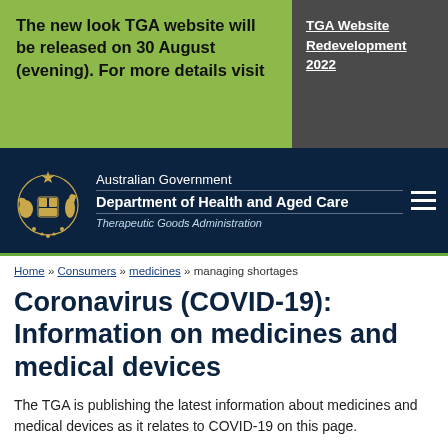The new look TGA website will be released on 30 August (evening). For more details visit
TGA Website Redevelopment 2022
[Figure (logo): Australian Government coat of arms logo]
Australian Government Department of Health and Aged Care Therapeutic Goods Administration
Home » Consumers » medicines » managing shortages
Coronavirus (COVID-19): Information on medicines and medical devices
The TGA is publishing the latest information about medicines and medical devices as it relates to COVID-19 on this page.